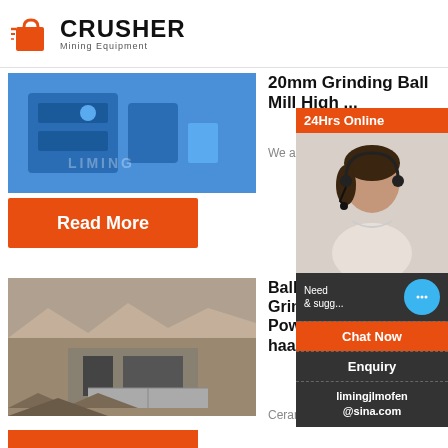[Figure (logo): Crusher Mining Equipment logo with red shopping cart icon and bold CRUSHER text]
[Figure (photo): Blue industrial crusher machine (LIMING brand) close-up photo]
20mm Grinding Ball Mill High ...
We are Mining Ball M...
Read More
[Figure (photo): Mining site with tunnel/channel infrastructure and rocky terrain]
Ball Mill Grinding Powder haagdo...
Ceramic B...
24Hrs Online
[Figure (photo): Woman with headset smiling - customer support representative]
Need & sugg...
Chat Now
Enquiry
limingjlmofen@sina.com